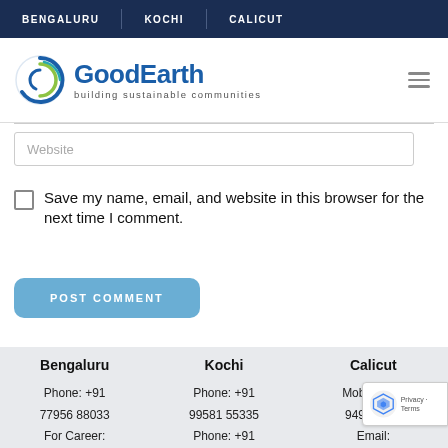BENGALURU | KOCHI | CALICUT
[Figure (logo): GoodEarth logo with circular icon and text 'GoodEarth building sustainable communities']
Website
Save my name, email, and website in this browser for the next time I comment.
POST COMMENT
| Bengaluru | Kochi | Calicut |
| --- | --- | --- |
| Phone: +91 | Phone: +91 | Mobile: +91 |
| 77956 88033 | 99581 55335 | 94964 100... |
| For Career: | Phone: +91 | Email: |